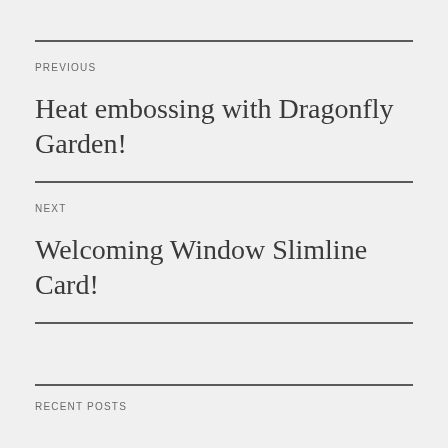PREVIOUS
Heat embossing with Dragonfly Garden!
NEXT
Welcoming Window Slimline Card!
RECENT POSTS